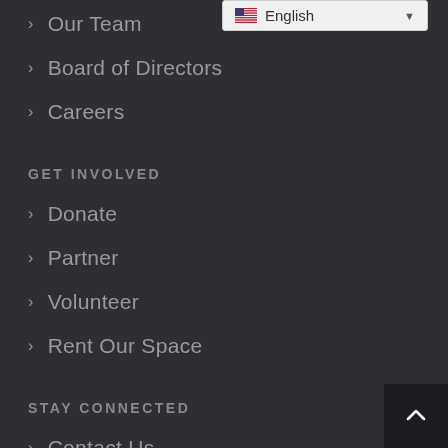> Our Team
> Board of Directors
> Careers
GET INVOLVED
> Donate
> Partner
> Volunteer
> Rent Our Space
STAY CONNECTED
> Contact Us
> In The News